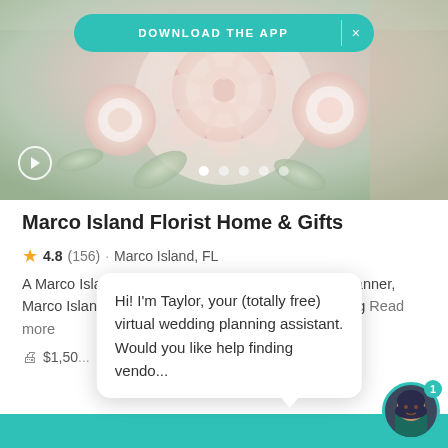[Figure (screenshot): Screenshot of a wedding vendor website showing a flower bouquet hero image with a teal 'DOWNLOAD THE APP' banner, play button, and image carousel dots.]
Marco Island Florist Home & Gifts
4.8 (156) · Marco Island, FL
A Marco Island, Florida-based florist and wedding planner, Marco Island Florist Home & Gifts has been providing Read more
$1,50...
Hi! I'm Taylor, your (totally free) virtual wedding planning assistant. Would you like help finding vendo...